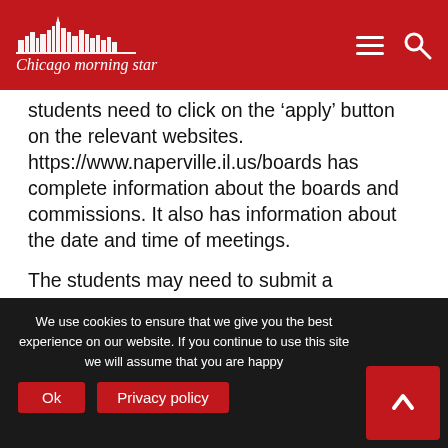Chicago morning star
students need to click on the ‘apply’ button on the relevant websites. https://www.naperville.il.us/boards has complete information about the boards and commissions. It also has information about the date and time of meetings.
The students may need to submit a statement of interest as well which will indicate the year of students in school. All high school students are eligible to apply for the positions. The senior high
We use cookies to ensure that we give you the best experience on our website. If you continue to use this site we will assume that you are happy
Ok    Privacy policy